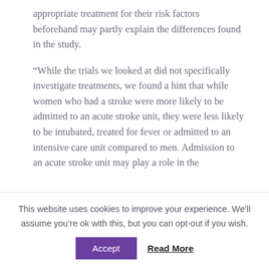appropriate treatment for their risk factors beforehand may partly explain the differences found in the study.
“While the trials we looked at did not specifically investigate treatments, we found a hint that while women who had a stroke were more likely to be admitted to an acute stroke unit, they were less likely to be intubated, treated for fever or admitted to an intensive care unit compared to men. Admission to an acute stroke unit may play a role in the
This website uses cookies to improve your experience. We’ll assume you’re ok with this, but you can opt-out if you wish.
Accept    Read More